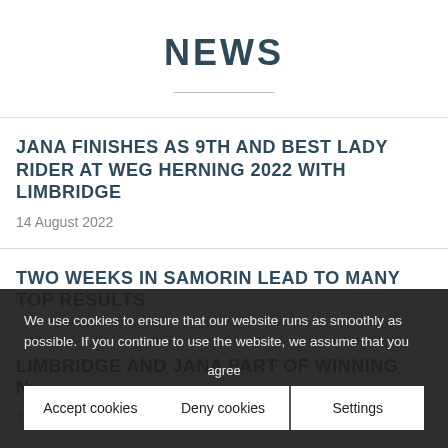NEWS
JANA FINISHES AS 9TH AND BEST LADY RIDER AT WEG HERNING 2022 WITH LIMBRIDGE
14 August 2022
TWO WEEKS IN SAMORIN LEAD TO MANY TOP RESULTS
LIMBRIDGE AND JANA PART OF WINNING N...
We use cookies to ensure that our website runs as smoothly as possible. If you continue to use the website, we assume that you agree
Accept cookies | Deny cookies | Settings